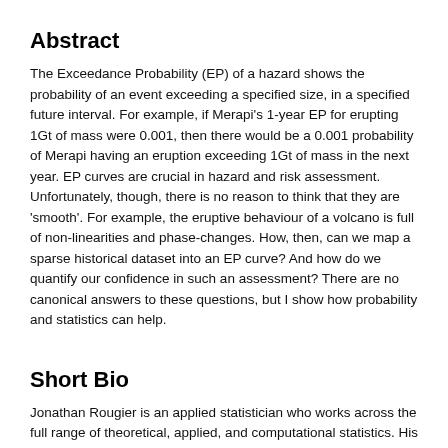Abstract
The Exceedance Probability (EP) of a hazard shows the probability of an event exceeding a specified size, in a specified future interval.  For example, if Merapi's 1-year EP for erupting 1Gt of mass were 0.001, then there would be a 0.001 probability of Merapi having an eruption exceeding 1Gt of mass in the next year. EP curves are crucial in hazard and risk assessment.  Unfortunately, though, there is no reason to think that they are 'smooth'.  For example, the eruptive behaviour of a volcano is full of non-linearities and phase-changes.  How, then, can we map a sparse historical dataset into an EP curve?  And how do we quantify our confidence in such an assessment?  There are no canonical answers to these questions, but I show how probability and statistics can help.
Short Bio
Jonathan Rougier is an applied statistician who works across the full range of theoretical, applied, and computational statistics. His principal training was in Economics (an to PhD...